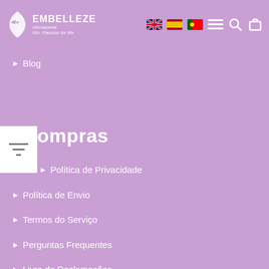[Figure (logo): Embelleze International Rio Passion for Life logo with white bird/leaf icon]
Blog
ompras
Política de Privacidade
Política de Envio
Termos do Serviço
Perguntas Frequentes
Livro de Reclamações
Newsletter
Seja o primeiro a saber todas as novidades e promoções!